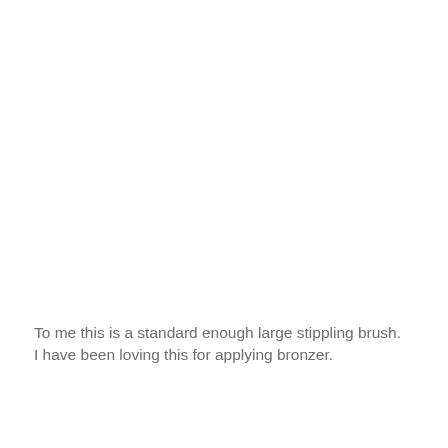To me this is a standard enough large stippling brush. I have been loving this for applying bronzer.